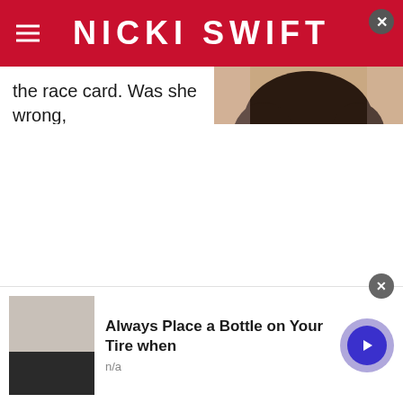NICKI SWIFT
the race card. Was she wrong,
[Figure (photo): Video thumbnail showing a woman with short dark hair, green eyes, and red lips, with a white play button overlay]
Always Place a Bottle on Your Tire when
n/a
[Figure (photo): Advertisement image showing a water bottle near a tire]